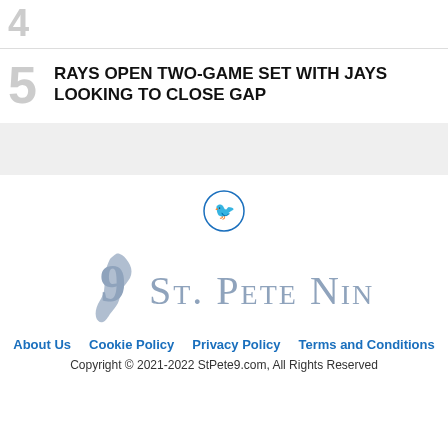4
5 RAYS OPEN TWO-GAME SET WITH JAYS LOOKING TO CLOSE GAP
[Figure (logo): Twitter bird icon in a circle]
[Figure (logo): St. Pete Nine logo with stylized 9 and Florida state shape]
About Us   Cookie Policy   Privacy Policy   Terms and Conditions
Copyright © 2021-2022 StPete9.com, All Rights Reserved